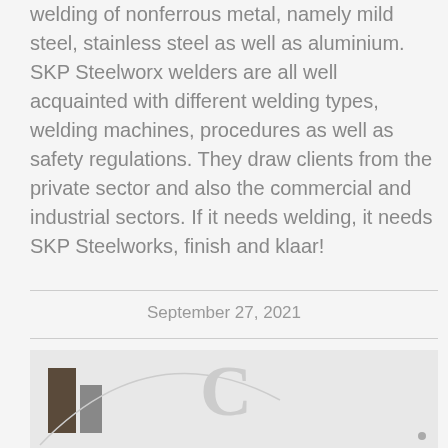Experienced welders specialising in the welding of nonferrous metal, namely mild steel, stainless steel as well as aluminium. SKP Steelworx welders are all well acquainted with different welding types, welding machines, procedures as well as safety regulations. They draw clients from the private sector and also the commercial and industrial sectors. If it needs welding, it needs SKP Steelworks, finish and klaar!
September 27, 2021
[Figure (photo): Partial image of what appears to be a steelworks or welding company logo/storefront, showing dark metal bars on the left and a large stylized letter C or G in light gray in the center, with a small dot at the bottom right.]